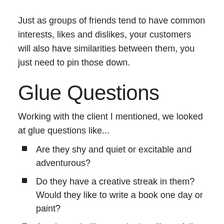Just as groups of friends tend to have common interests, likes and dislikes, your customers will also have similarities between them, you just need to pin those down.
Glue Questions
Working with the client I mentioned, we looked at glue questions like...
Are they shy and quiet or excitable and adventurous?
Do they have a creative streak in them? Would they like to write a book one day or paint?
Are they rebellious or do they like to follow the rules?